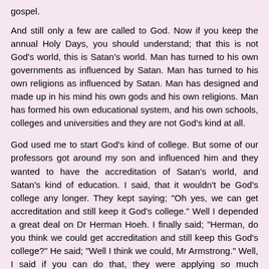gospel.
And still only a few are called to God. Now if you keep the annual Holy Days, you should understand; that this is not God's world, this is Satan's world. Man has turned to his own governments as influenced by Satan. Man has turned to his own religions as influenced by Satan. Man has designed and made up in his mind his own gods and his own religions. Man has formed his own educational system, and his own schools, colleges and universities and they are not God's kind at all.
God used me to start God's kind of college. But some of our professors got around my son and influenced him and they wanted to have the accreditation of Satan's world, and Satan's kind of education. I said, that it wouldn't be God's college any longer. They kept saying; "Oh yes, we can get accreditation and still keep it God's college." Well I depended a great deal on Dr Herman Hoeh. I finally said; "Herman, do you think we could get accreditation and still keep this God's college?" He said; "Well I think we could, Mr Armstrong." Well, I said if you can do that, they were applying so much pressure, I finally said; "Go ahead." So they were applying for accreditation.
Do you know why we got turned down? It was all set. And, thank